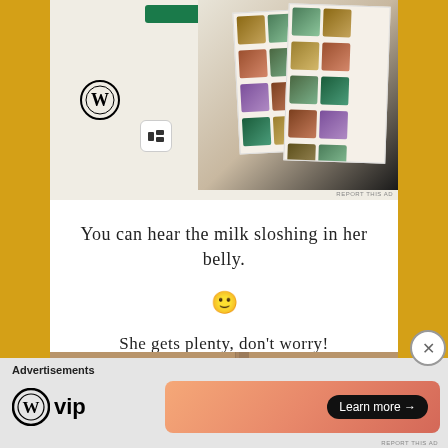[Figure (screenshot): WordPress/Squarespace advertisement showing food photography app interface with green button at top and food photo collage on the right side, with WordPress logo and Squarespace icon visible]
You can hear the milk sloshing in her belly.
🙂
She gets plenty, don't worry!
[Figure (photo): Photograph of a black cow peeking through a wire fence with grass and dirt/rocks visible in the background and a wooden fence post]
Advertisements
[Figure (logo): WordPress VIP logo and advertisement banner with 'Learn more' button on gradient orange/pink background]